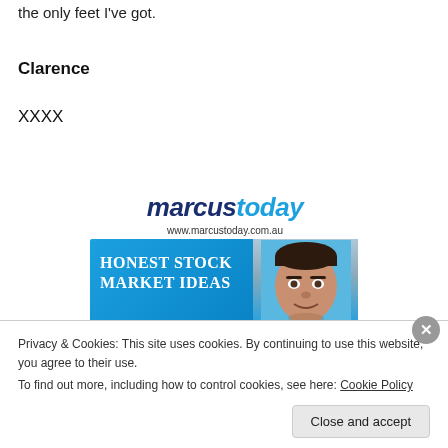the only feet I've got.
Clarence
XXXX
[Figure (logo): Marcus Today logo with text 'marcustoday' and URL www.marcustoday.com.au, with an advertisement banner showing 'Honest Stock Market Ideas' and a photo of a man]
Privacy & Cookies: This site uses cookies. By continuing to use this website, you agree to their use.
To find out more, including how to control cookies, see here: Cookie Policy
Close and accept